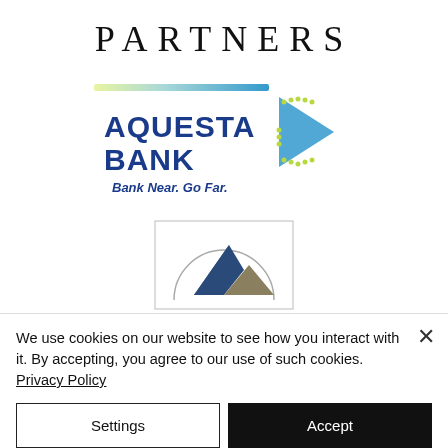PARTNERS
[Figure (logo): Aquesta Bank logo with gradient blue bar, bold blue text reading AQUESTA BANK, tagline Bank Near. Go Far., and an arrow graphic made of blue and green pixel-dot pattern]
[Figure (logo): Mountain/peak logo with dark blue and olive/tan triangular mountain shapes inside a partial circle arc, within a rectangular border]
We use cookies on our website to see how you interact with it. By accepting, you agree to our use of such cookies. Privacy Policy
Settings
Accept